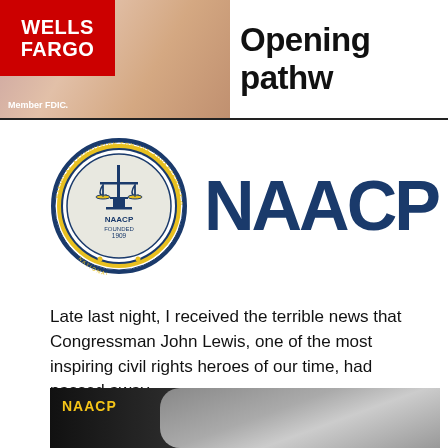[Figure (photo): Wells Fargo advertisement banner with red Wells Fargo logo on left, photo of people on left side, and 'Opening pathw' text on right]
[Figure (logo): NAACP circular seal logo alongside large dark blue NAACP wordmark text]
Late last night, I received the terrible news that Congressman John Lewis, one of the most inspiring civil rights heroes of our time, had passed away.
[Figure (photo): Dark image with NAACP label in yellow and a grayscale portrait photo on right side]